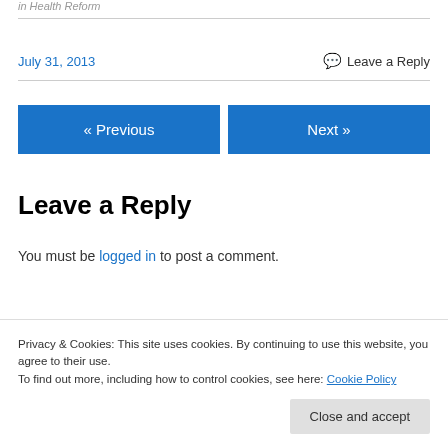in Health Reform
July 31, 2013   Leave a Reply
« Previous   Next »
Leave a Reply
You must be logged in to post a comment.
Privacy & Cookies: This site uses cookies. By continuing to use this website, you agree to their use. To find out more, including how to control cookies, see here: Cookie Policy
Close and accept